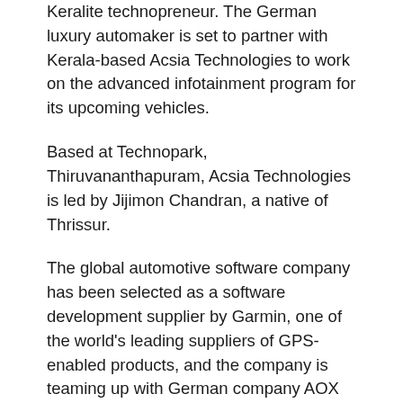Keralite technopreneur. The German luxury automaker is set to partner with Kerala-based Acsia Technologies to work on the advanced infotainment program for its upcoming vehicles.
Based at Technopark, Thiruvananthapuram, Acsia Technologies is led by Jijimon Chandran, a native of Thrissur.
The global automotive software company has been selected as a software development supplier by Garmin, one of the world's leading suppliers of GPS-enabled products, and the company is teaming up with German company AOX Technologies to develop infotainment systems for BMW.
Infotainment is the hardware and software platform designed to deliver information and entertainment, including audio and video, in vehicles. Acsia signed a contract with Garmin and launched the project.
“We have been developing software for over seven years since 2014. Last year, we were approached to develop software for German car manufacturer BMW. The initiative came from Garmin and after a long